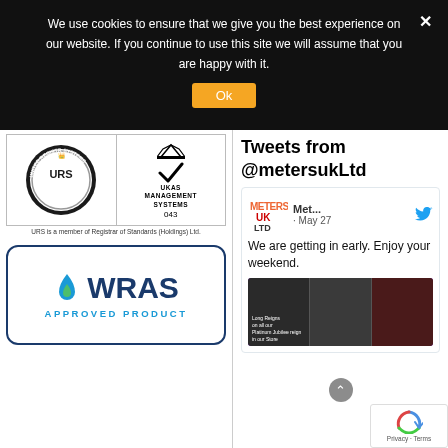We use cookies to ensure that we give you the best experience on our website. If you continue to use this site we will assume that you are happy with it.
[Figure (logo): URS ISO 9001 certification logo circle badge and UKAS Management Systems 043 checkmark logo]
URS is a member of Registrar of Standards (Holdings) Ltd.
[Figure (logo): WRAS Approved Product logo in blue rounded rectangle border with water droplet icon]
Tweets from @metersukLtd
[Figure (screenshot): Tweet from Meters UK Ltd dated May 27 saying: We are getting in early. Enjoy your weekend. With an image showing Queen Elizabeth jubilee themed purple graphic.]